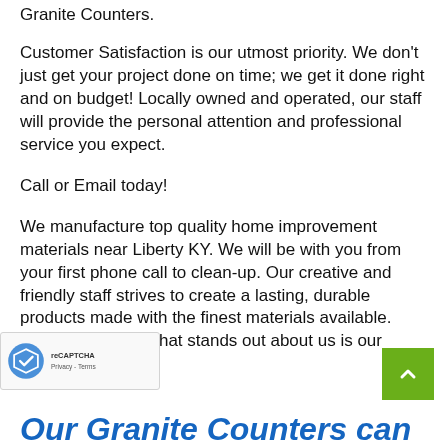Granite Counters.
Customer Satisfaction is our utmost priority. We don't just get your project done on time; we get it done right and on budget! Locally owned and operated, our staff will provide the personal attention and professional service you expect.
Call or Email today!
We manufacture top quality home improvement materials near Liberty KY. We will be with you from your first phone call to clean-up. Our creative and friendly staff strives to create a lasting, durable products made with the finest materials available. One of the things that stands out about us is our attention to detail.
Our Granite Counters can